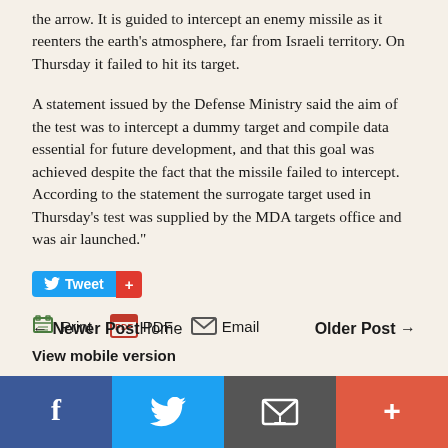the arrow. It is guided to intercept an enemy missile as it reenters the earth's atmosphere, far from Israeli territory. On Thursday it failed to hit its target.
A statement issued by the Defense Ministry said the aim of the test was to intercept a dummy target and compile data essential for future development, and that this goal was achieved despite the fact that the missile failed to intercept. According to the statement the surrogate target used in Thursday's test was supplied by the MDA targets office and was air launched."
[Figure (screenshot): Tweet button (blue with Twitter bird icon) and red plus button]
[Figure (screenshot): Social share buttons: Print, PDF, Email with icons]
← Newer PostHome    Older Post →
View mobile version
[Figure (infographic): Bottom social share bar with Facebook (blue), Twitter (light blue), Email (gray), and Plus (red-orange) buttons]